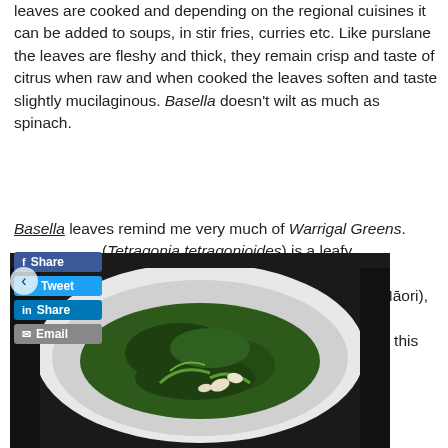leaves are cooked and depending on the regional cuisines it can be added to soups, in stir fries, curries etc. Like purslane the leaves are fleshy and thick, they remain crisp and taste of citrus when raw and when cooked the leaves soften and taste slightly mucilaginous. Basella doesn't wilt as much as spinach.
Basella leaves remind me very much of Warrigal Greens. (Tetragonia tetragonioides) is a leafy groundcover also known as Botany Bay spinach, Cook's cabbage, kōkihi (in Māori), New Zealand spinach,. Although I have cooked this green many times before I do not have any photos.
[Figure (photo): A white bowl filled with cooked dark green leafy vegetables (appears to be sautéed greens with garlic), photographed on a dark surface.]